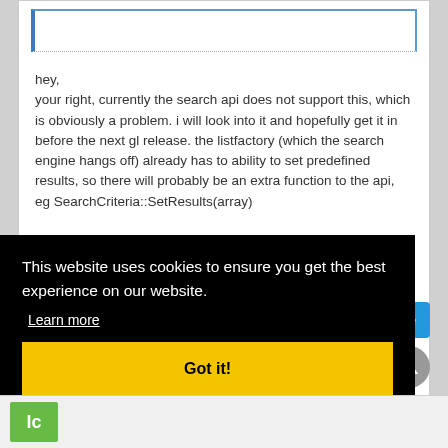hey,
your right, currently the search api does not support this, which is obviously a problem. i will look into it and hopefully get it in before the next gl release. the listfactory (which the search engine hangs off) already has to ability to set predefined results, so there will probably be an extra function to the api, eg SearchCriteria::SetResults(array)
This website uses cookies to ensure you get the best experience on our website.
Learn more
Got it!